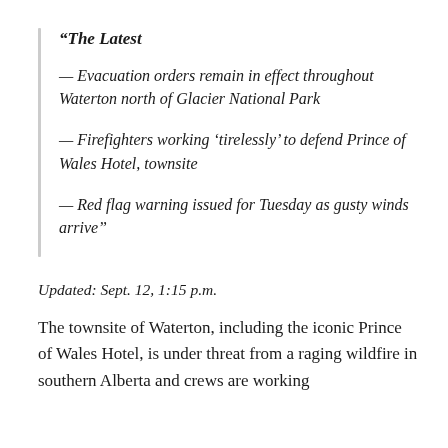“The Latest
— Evacuation orders remain in effect throughout Waterton north of Glacier National Park
— Firefighters working ‘tirelessly’ to defend Prince of Wales Hotel, townsite
— Red flag warning issued for Tuesday as gusty winds arrive”
Updated: Sept. 12, 1:15 p.m.
The townsite of Waterton, including the iconic Prince of Wales Hotel, is under threat from a raging wildfire in southern Alberta and crews are working